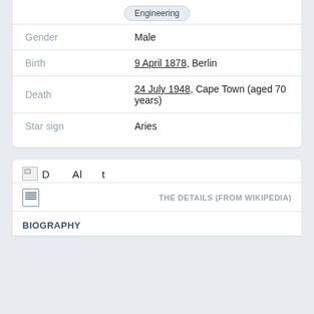| Field | Value |
| --- | --- |
| Gender | Male |
| Birth | 9 April 1878, Berlin |
| Death | 24 July 1948, Cape Town (aged 70 years) |
| Star sign | Aries |
THE DETAILS (FROM WIKIPEDIA)
BIOGRAPHY